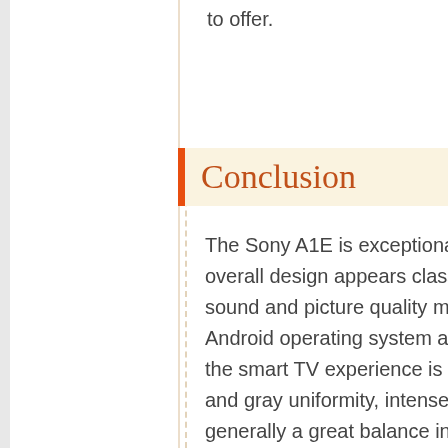to offer.
Conclusion
The Sony A1E is exceptional in its offerings. The overall design appears classy and clean, and the sound and picture quality meet the needs of most. An Android operating system and apps at hand ensure the smart TV experience is desirable. Great black and gray uniformity, intense motion performance, and generally a great balance in features and functionalities make this a
[Figure (other): Best Price button (orange rectangle, partially visible on right edge)]
[Figure (other): Scroll-to-top circular button with upward chevron icon]